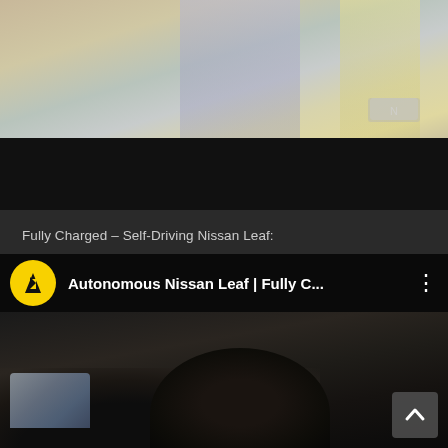[Figure (photo): Screenshot of a mobile screen showing a blurry road surface viewed from inside a car (upper portion), a black bar (lower portion of video), a text label reading 'Fully Charged – Self-Driving Nissan Leaf:', and a YouTube video card titled 'Autonomous Nissan Leaf | Fully C...' with a yellow lightning bolt channel icon, and a car interior thumbnail with a person's head visible.]
Fully Charged – Self-Driving Nissan Leaf:
Autonomous Nissan Leaf | Fully C...